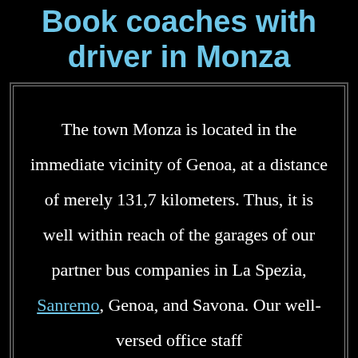Book coaches with driver in Monza
The town Monza is located in the immediate vicinity of Genoa, at a distance of merely 131,7 kilometers. Thus, it is well within reach of the garages of our partner bus companies in La Spezia, Sanremo, Genoa, and Savona. Our well-versed office staff